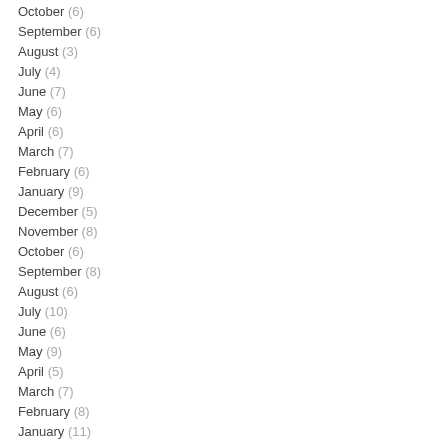October (6)
September (6)
August (3)
July (4)
June (7)
May (6)
April (6)
March (7)
February (6)
January (9)
December (5)
November (8)
October (6)
September (8)
August (6)
July (10)
June (6)
May (9)
April (5)
March (7)
February (8)
January (11)